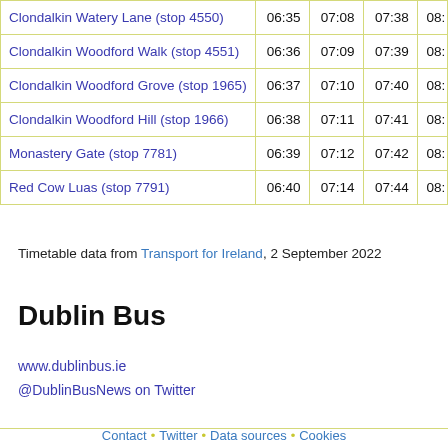| Stop | 06:35 | 07:08 | 07:38 | 08:... |
| --- | --- | --- | --- | --- |
| Clondalkin Watery Lane (stop 4550) | 06:35 | 07:08 | 07:38 | 08:… |
| Clondalkin Woodford Walk (stop 4551) | 06:36 | 07:09 | 07:39 | 08:… |
| Clondalkin Woodford Grove (stop 1965) | 06:37 | 07:10 | 07:40 | 08:… |
| Clondalkin Woodford Hill (stop 1966) | 06:38 | 07:11 | 07:41 | 08:… |
| Monastery Gate (stop 7781) | 06:39 | 07:12 | 07:42 | 08:… |
| Red Cow Luas (stop 7791) | 06:40 | 07:14 | 07:44 | 08:… |
Timetable data from Transport for Ireland, 2 September 2022
Dublin Bus
www.dublinbus.ie
@DublinBusNews on Twitter
Contact · Twitter · Data sources · Cookies